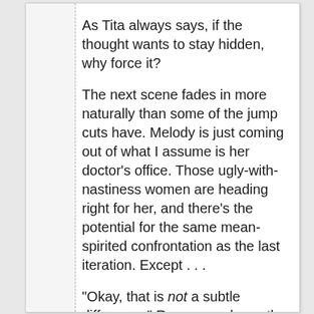As Tita always says, if the thought wants to stay hidden, why force it?
The next scene fades in more naturally than some of the jump cuts have. Melody is just coming out of what I assume is her doctor's office. Those ugly-with-nastiness women are heading right for her, and there's the potential for the same mean-spirited confrontation as the last iteration. Except . . .
"Okay, that is not a subtle difference," Rene remarks as the woman from the Inn intercepts the other women.
"No. And . . ." Again, I sigh. "Once more, I wish someone besides me could see this qi. It's even less subtle than anyone's actions, but I can't put my finger on the difference."